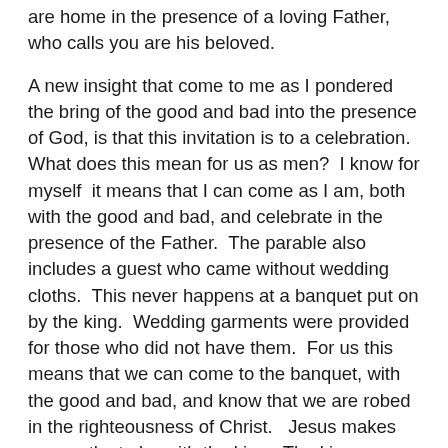are home in the presence of a loving Father, who calls you are his beloved.
A new insight that come to me as I pondered the bring of the good and bad into the presence of God, is that this invitation is to a celebration.  What does this mean for us as men?  I know for myself  it means that I can come as I am, both with the good and bad, and celebrate in the presence of the Father.  The parable also includes a guest who came without wedding cloths.  This never happens at a banquet put on by the king.  Wedding garments were provided for those who did not have them.  For us this means that we can come to the banquet, with the good and bad, and know that we are robed in the righteousness of Christ.   Jesus makes me worthy to be with the king.  The king accepts me as I am, because of what Jesus has done for me.  He covers me.  I can really celebrate in the presence of the king, because of Jesus.  To me this is joy, knowing that I am free to be